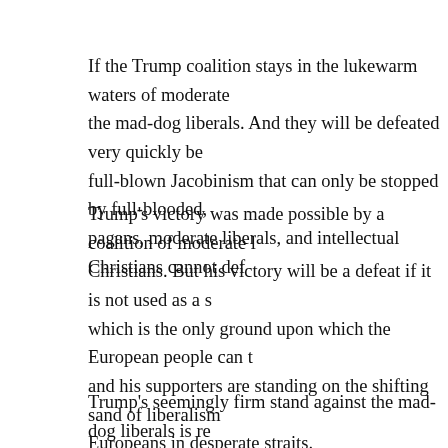If the Trump coalition stays in the lukewarm waters of moderate the mad-dog liberals. And they will be defeated very quickly be full-blown Jacobinism that can only be stopped by full-blooded, pagans, moderate liberals, and intellectual Christians cannot def
Trump's victory was made possible by a coalition of moderate l Christians. But his victory will be a defeat if it is not used as a s which is the only ground upon which the European people can t and his supporters are standing on the shifting sand of liberalism Europeans in desperate straits.
Trump's seemingly firm stand against the mad-dog liberals is re quicksand, because it is not possible to seek redemption from th Trump demands that white people be given part of the liberal pi that, since the essence of liberalism is the destruction of the whi hysterical, and often violent reactions to Trump's moderate libe Democrat of the 50s or early 60s would have opposed, gives us unadulterated Satanism of the liberals. Can Trump's moderate li